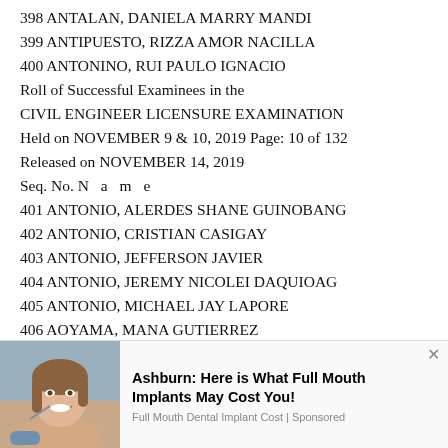398 ANTALAN, DANIELA MARRY MANDI
399 ANTIPUESTO, RIZZA AMOR NACILLA
400 ANTONINO, RUI PAULO IGNACIO
Roll of Successful Examinees in the
CIVIL ENGINEER LICENSURE EXAMINATION
Held on NOVEMBER 9 & 10, 2019 Page: 10 of 132
Released on NOVEMBER 14, 2019
Seq. No. N a m e
401 ANTONIO, ALERDES SHANE GUINOBANG
402 ANTONIO, CRISTIAN CASIGAY
403 ANTONIO, JEFFERSON JAVIER
404 ANTONIO, JEREMY NICOLEI DAQUIOAG
405 ANTONIO, MICHAEL JAY LAPORE
406 AOYAMA, MANA GUTIERREZ
[Figure (photo): Advertisement overlay: photo of a woman smiling with dental theme, text 'Ashburn: Here is What Full Mouth Implants May Cost You!' and 'Full Mouth Dental Implant Cost | Sponsored']